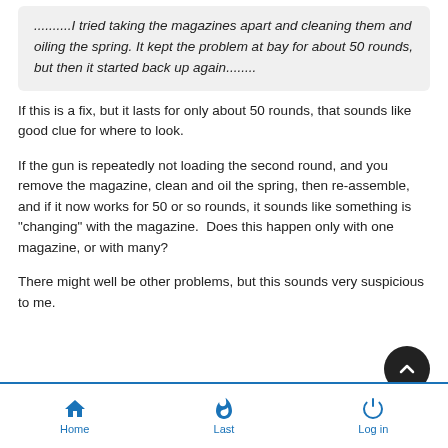.........I tried taking the magazines apart and cleaning them and oiling the spring. It kept the problem at bay for about 50 rounds, but then it started back up again........
If this is a fix, but it lasts for only about 50 rounds, that sounds like good clue for where to look.
If the gun is repeatedly not loading the second round, and you remove the magazine, clean and oil the spring, then re-assemble, and if it now works for 50 or so rounds, it sounds like something is "changing" with the magazine.  Does this happen only with one magazine, or with many?
There might well be other problems, but this sounds very suspicious to me.
Like
Home  Last  Log in